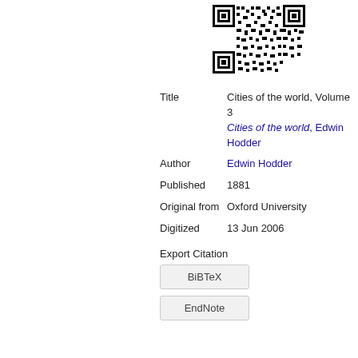[Figure (other): QR code image in the upper right portion of the page]
| Title | Cities of the world, Volume 3
Cities of the world, Edwin Hodder |
| Author | Edwin Hodder |
| Published | 1881 |
| Original from | Oxford University |
| Digitized | 13 Jun 2006 |
Export Citation
BiBTeX
EndNote